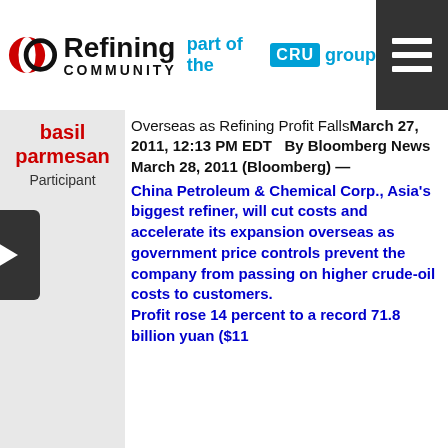Refining Community — part of the CRU group
basil parmesan
Participant
Overseas as Refining Profit Falls March 27, 2011, 12:13 PM EDT   By Bloomberg News March 28, 2011 (Bloomberg) — China Petroleum & Chemical Corp., Asia's biggest refiner, will cut costs and accelerate its expansion overseas as government price controls prevent the company from passing on higher crude-oil costs to customers. Profit rose 14 percent to a record 71.8 billion yuan ($11